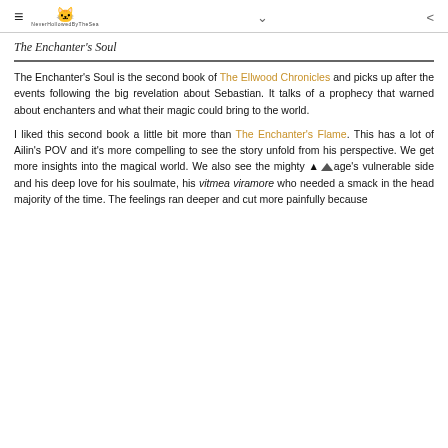≡ [cat logo] NeverHollowedByTheSea ∨ ⋮
The Enchanter's Soul
The Enchanter's Soul is the second book of The Ellwood Chronicles and picks up after the events following the big revelation about Sebastian. It talks of a prophecy that warned about enchanters and what their magic could bring to the world.
I liked this second book a little bit more than The Enchanter's Flame. This has a lot of Ailin's POV and it's more compelling to see the story unfold from his perspective. We get more insights into the magical world. We also see the mighty Sage's vulnerable side and his deep love for his soulmate, his vitmea viramore who needed a smack in the head majority of the time. The feelings ran deeper and cut more painfully because